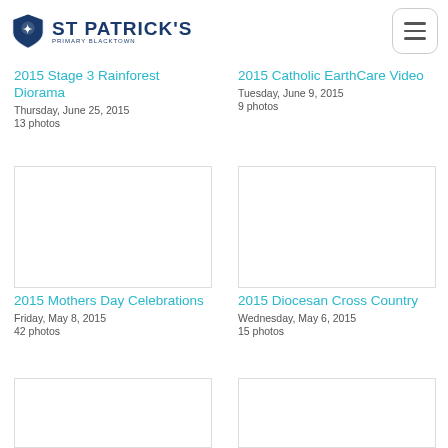ST PATRICK'S PRIMARY BLACKTOWN
2015 Stage 3 Rainforest Diorama
Thursday, June 25, 2015
13 photos
2015 Catholic EarthCare Video
Tuesday, June 9, 2015
9 photos
[Figure (photo): Thumbnail placeholder for 2015 Mothers Day Celebrations]
2015 Mothers Day Celebrations
Friday, May 8, 2015
42 photos
[Figure (photo): Thumbnail placeholder for 2015 Diocesan Cross Country]
2015 Diocesan Cross Country
Wednesday, May 6, 2015
15 photos
[Figure (photo): Thumbnail placeholder for lower left item]
[Figure (photo): Thumbnail placeholder for lower right item]